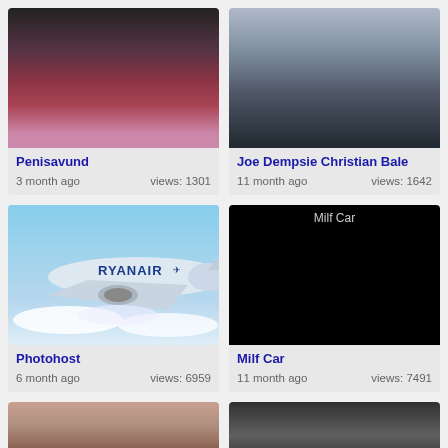[Figure (photo): Dance performance photo with two people, pink stage, graffiti mural background]
Penisavund
3 month ago    views: 1301
[Figure (photo): Two men in suits standing outside]
Joe Dempsie Christian Bale
11 month ago    views: 1642
[Figure (photo): Ryanair airplane in flight above clouds]
Photohost
6 month ago    views: 6959
[Figure (photo): Black image with alt text Milf Car]
Milf Car
11 month ago    views: 7491
[Figure (photo): Partial bottom-left photo, warm tones, couple]
[Figure (photo): Partial bottom-right photo, dark tones]